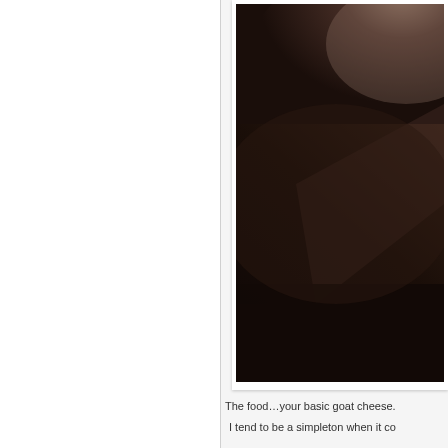[Figure (photo): A dark, blurry close-up photograph with warm brown and dark near-black tones, showing soft rounded shapes with dramatic shadow and light gradients.]
The food…your basic goat cheese.
I tend to be a simpleton when it co